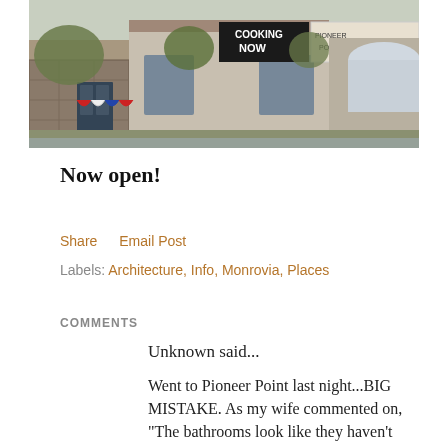[Figure (photo): Exterior of Pioneer Point restaurant building with 'Cooking Now' banner sign, stone facade, large windows, trees, and patriotic bunting decorations.]
Now open!
Share    Email Post
Labels: Architecture, Info, Monrovia, Places
COMMENTS
Unknown said...
Went to Pioneer Point last night...BIG MISTAKE. As my wife commented on, "The bathrooms look like they haven't been cleaned since Macaroni Grill was around".

The food was bland, and lacked any flavor. Most